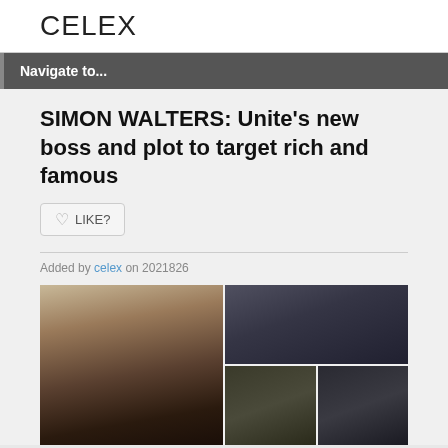CELEX
Navigate to...
SIMON WALTERS: Unite’s new boss and plot to target rich and famous
[Figure (other): Like button with heart icon]
Added by celex on 2021â8â26â
[Figure (photo): Composite of four photographs: a woman looking upward at left, two men at top right, a guitarist at bottom middle-right, and a man in red at bottom far-right]